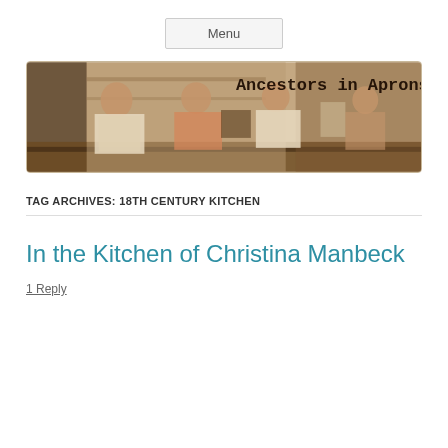Menu
[Figure (photo): Sepia-toned vintage photograph of women in aprons standing behind a diner counter, with text 'Ancestors in Aprons' overlaid in the upper right]
TAG ARCHIVES: 18TH CENTURY KITCHEN
In the Kitchen of Christina Manbeck
1 Reply